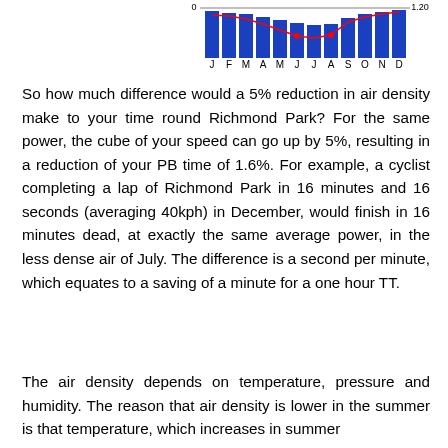[Figure (bar-chart): Monthly air density relative values]
So how much difference would a 5% reduction in air density make to your time round Richmond Park? For the same power, the cube of your speed can go up by 5%, resulting in a reduction of your PB time of 1.6%. For example, a cyclist completing a lap of Richmond Park in 16 minutes and 16 seconds (averaging 40kph) in December, would finish in 16 minutes dead, at exactly the same average power, in the less dense air of July. The difference is a second per minute, which equates to a saving of a minute for a one hour TT.
The air density depends on temperature, pressure and humidity. The reason that air density is lower in the summer is that temperature, which increases in summer...